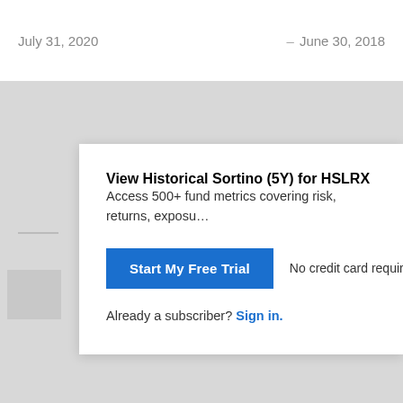July 31, 2020
–
June 30, 2018
View Historical Sortino (5Y) for HSLRX
Access 500+ fund metrics covering risk, returns, exposu…
Start My Free Trial
No credit card required.
Already a subscriber? Sign in.